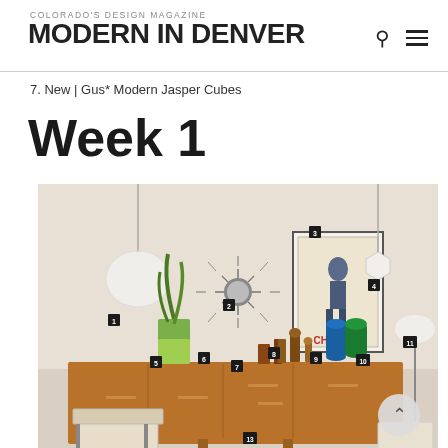COLORADO'S DESIGN MAGAZINE | MODERN IN DENVER
7. New | Gus* Modern Jasper Cubes
Week 1
[Figure (photo): Mid-century modern interior scene with numbered items on and above a wooden credenza. Items include pendant lamps, a starburst clock, a framed Charlot poster, a snake plant, decorative bottles, vases, and a lamp. Numbers 1-15 are visible as small black squares labeling each item.]